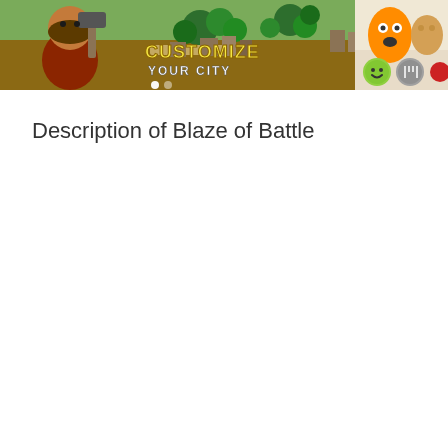[Figure (screenshot): Screenshot of Blaze of Battle mobile game showing a bearded character holding a hammer with game map behind, text reads CUSTOMIZE YOUR CITY. Adjacent partial screenshot showing food/restaurant game with cartoon characters and emoji icons.]
Description of Blaze of Battle